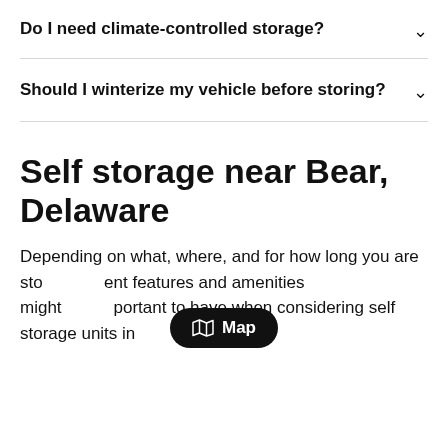Do I need climate-controlled storage?
Should I winterize my vehicle before storing?
Self storage near Bear, Delaware
Depending on what, where, and for how long you are storing, different features and amenities might be more important to have when considering self storage units in
[Figure (other): Map button overlay with map icon and text 'Map']